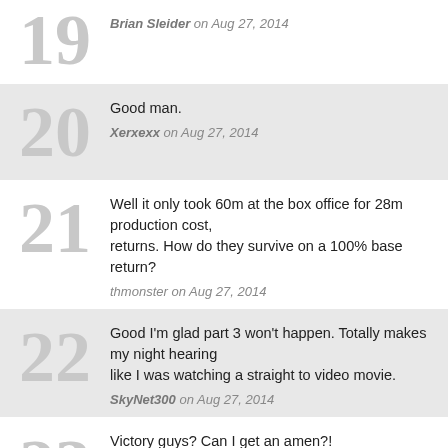19 — Brian Sleider on Aug 27, 2014
20 — Good man. — Xerxexx on Aug 27, 2014
21 — Well it only took 60m at the box office for 28m production cost, returns. How do they survive on a 100% base return? — thmonster on Aug 27, 2014
22 — Good I'm glad part 3 won't happen. Totally makes my night hearing like I was watching a straight to video movie. — SkyNet300 on Aug 27, 2014
23 — Victory guys? Can I get an amen?! — SkyNet300 on Aug 27, 2014
24 — Passing the buck... the sequel (to a very niche movie) sucked and it's